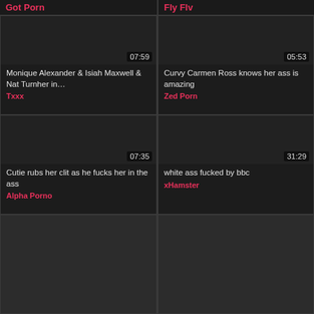Got Porn
Fly Flv
[Figure (screenshot): Video thumbnail dark area, duration 07:59]
Monique Alexander & Isiah Maxwell & Nat Turnher in…
Txxx
[Figure (screenshot): Video thumbnail dark area, duration 05:53]
Curvy Carmen Ross knows her ass is amazing
Zed Porn
[Figure (screenshot): Video thumbnail dark area, duration 07:35]
Cutie rubs her clit as he fucks her in the ass
Alpha Porno
[Figure (screenshot): Video thumbnail dark area, duration 31:29]
white ass fucked by bbc
xHamster